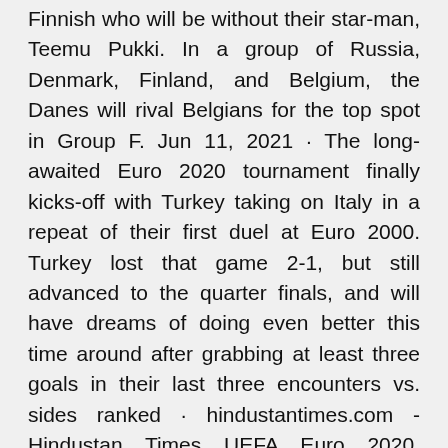Finnish who will be without their star-man, Teemu Pukki. In a group of Russia, Denmark, Finland, and Belgium, the Danes will rival Belgians for the top spot in Group F. Jun 11, 2021 · The long-awaited Euro 2020 tournament finally kicks-off with Turkey taking on Italy in a repeat of their first duel at Euro 2000. Turkey lost that game 2-1, but still advanced to the quarter finals, and will have dreams of doing even better this time around after grabbing at least three goals in their last three encounters vs. sides ranked · hindustantimes.com - Hindustan Times UEFA Euro 2020, Belgium vs Russia Live Streaming: When and where to watch on TV and Online UEFA Euro 2020 Belgium vs Russia Live ... Italy ITA --Wales WAL See more. Group A. Switzerland SUI Russia-Denmark UEFA EURO 2020 .